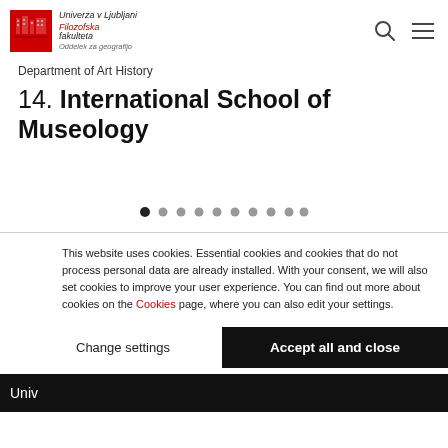[Figure (logo): Univerza v Ljubljani Filozofska fakulteta Oddelek za geografijo logo with red square building icon]
Department of Art History
14. International School of Museology
[Figure (other): Slideshow navigation dots, 10 dots, first one filled dark]
This website uses cookies. Essential cookies and cookies that do not process personal data are already installed. With your consent, we will also set cookies to improve your user experience. You can find out more about cookies on the Cookies page, where you can also edit your settings.
Change settings
Accept all and close
Univ